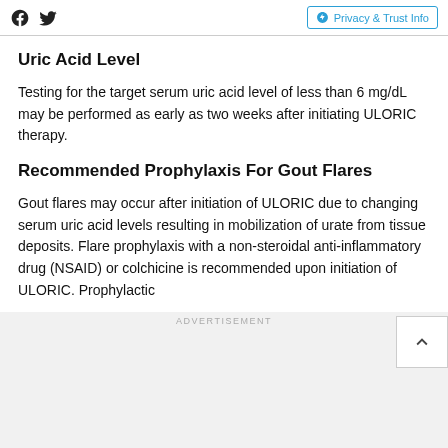Social icons (Facebook, Twitter) | Privacy & Trust Info
Uric Acid Level
Testing for the target serum uric acid level of less than 6 mg/dL may be performed as early as two weeks after initiating ULORIC therapy.
Recommended Prophylaxis For Gout Flares
Gout flares may occur after initiation of ULORIC due to changing serum uric acid levels resulting in mobilization of urate from tissue deposits. Flare prophylaxis with a non-steroidal anti-inflammatory drug (NSAID) or colchicine is recommended upon initiation of ULORIC. Prophylactic
ADVERTISEMENT